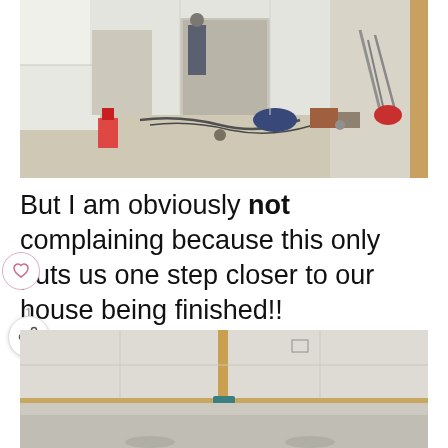[Figure (photo): Interior of a house under construction/renovation with drywall installed, tools and construction materials scattered on the floor, doorways visible]
But I am obviously not complaining because this only puts us one step closer to our house being finished!!
[Figure (photo): Partial view of a ceiling or wall with drywall and wood framing, construction in progress]